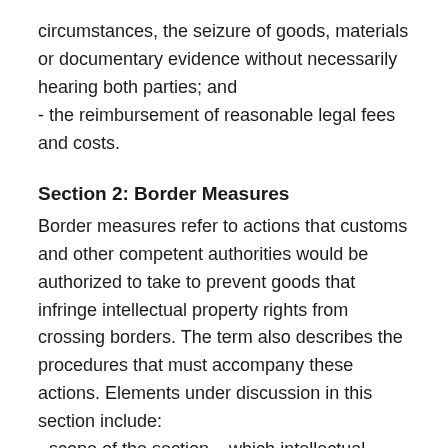circumstances, the seizure of goods, materials or documentary evidence without necessarily hearing both parties; and
- the reimbursement of reasonable legal fees and costs.
Section 2: Border Measures
Border measures refer to actions that customs and other competent authorities would be authorized to take to prevent goods that infringe intellectual property rights from crossing borders. The term also describes the procedures that must accompany these actions. Elements under discussion in this section include:
- scope of the section – which intellectual